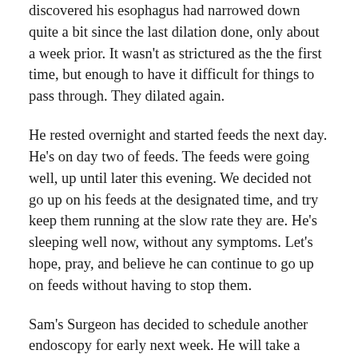discovered his esophagus had narrowed down quite a bit since the last dilation done, only about a week prior. It wasn't as strictured as the the first time, but enough to have it difficult for things to pass through. They dilated again.
He rested overnight and started feeds the next day. He's on day two of feeds. The feeds were going well, up until later this evening. We decided not go up on his feeds at the designated time, and try keep them running at the slow rate they are. He's sleeping well now, without any symptoms. Let's hope, pray, and believe he can continue to go up on feeds without having to stop them.
Sam's Surgeon has decided to schedule another endoscopy for early next week. He will take a look and dilate his esophagus again if needed. For whatever reason, Sam's esophagus thinks it needs to close up post surgeries. We may have to continue this